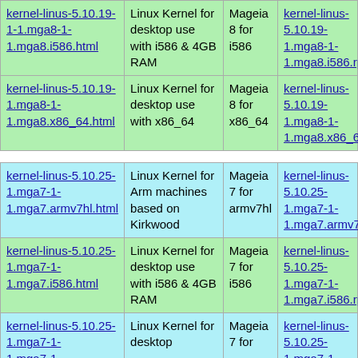| Package | Description | Distro | RPM |
| --- | --- | --- | --- |
| kernel-linus-5.10.19-1.mga8-1-1.mga8.i586.html | Linux Kernel for desktop use with i586 & 4GB RAM | Mageia 8 for i586 | kernel-linus-5.10.19-1.mga8-1-1.mga8.i586.rpm |
| kernel-linus-5.10.19-1.mga8-1-1.mga8.x86_64.html | Linux Kernel for desktop use with x86_64 | Mageia 8 for x86_64 | kernel-linus-5.10.19-1.mga8-1-1.mga8.x86_64.rpm |
| kernel-linus-5.10.25-1.mga7-1-1.mga7.armv7hl.html | Linux Kernel for Arm machines based on Kirkwood | Mageia 7 for armv7hl | kernel-linus-5.10.25-1.mga7-1-1.mga7.armv7hl.rpm |
| kernel-linus-5.10.25-1.mga7-1-1.mga7.i586.html | Linux Kernel for desktop use with i586 & 4GB RAM | Mageia 7 for i586 | kernel-linus-5.10.25-1.mga7-1-1.mga7.i586.rpm |
| kernel-linus-5.10.25-1.mga7-1-1.mga7-1... | Linux Kernel for desktop | Mageia 7 for | kernel-linus-5.10.25-1.mga7-1-1.mga7-1... |